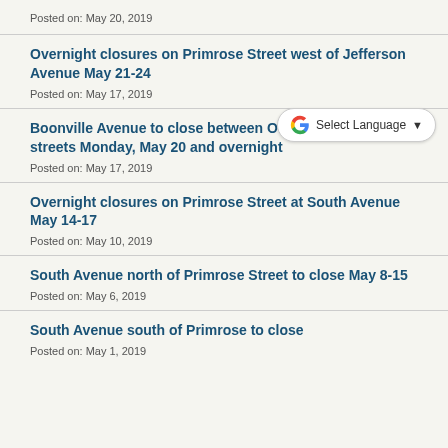Posted on: May 20, 2019
Overnight closures on Primrose Street west of Jefferson Avenue May 21-24
Posted on: May 17, 2019
Boonville Avenue to close between Olive and Water streets Monday, May 20 and overnight
Posted on: May 17, 2019
Overnight closures on Primrose Street at South Avenue May 14-17
Posted on: May 10, 2019
South Avenue north of Primrose Street to close May 8-15
Posted on: May 6, 2019
South Avenue south of Primrose to close
Posted on: May 1, 2019